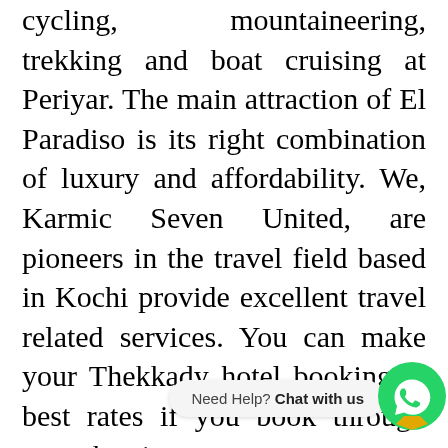cycling, mountaineering, trekking and boat cruising at Periyar. The main attraction of El Paradiso is its right combination of luxury and affordability. We, Karmic Seven United, are pioneers in the travel field based in Kochi provide excellent travel related services. You can make your Thekkady hotel booking at best rates if you book through www.ksu.in.
[Figure (other): WhatsApp chat widget with green icon and 'Need Help? Chat with us' bubble]